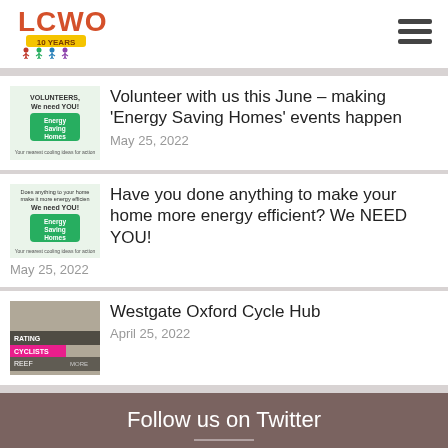[Figure (logo): LCWO 10 Years logo with colorful cartoon figures]
[Figure (illustration): Hamburger menu icon (three horizontal lines)]
[Figure (illustration): Energy Saving Homes volunteers banner thumbnail]
Volunteer with us this June – making 'Energy Saving Homes' events happen
May 25, 2022
[Figure (illustration): Energy Saving Homes We need YOU thumbnail]
Have you done anything to make your home more energy efficient? We NEED YOU!
May 25, 2022
[Figure (photo): Westgate Oxford Cycle Hub image with cyclists rating]
Westgate Oxford Cycle Hub
April 25, 2022
Follow us on Twitter
Tweets from
Follow